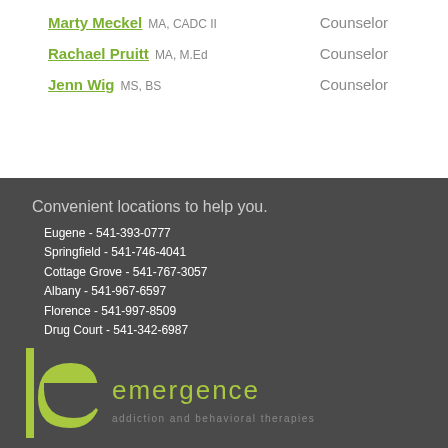Marty Meckel MA, CADC II — Counselor
Rachael Pruitt MA, M.Ed — Counselor
Jenn Wig MS, BS — Counselor
Convenient locations to help you.
Eugene - 541-393-0777
Springfield - 541-746-4041
Cottage Grove - 541-767-3057
Albany - 541-967-6597
Florence - 541-997-8509
Drug Court - 541-342-6987
[Figure (logo): Emergence addiction and behavioral therapies logo with stylized 'e' icon and lime green text]